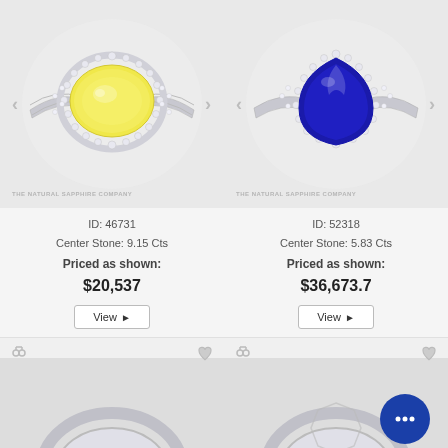[Figure (photo): Yellow sapphire halo ring on white background, The Natural Sapphire Company watermark]
ID: 46731
Center Stone: 9.15 Cts
Priced as shown:
$20,537
View ▶
[Figure (photo): Blue sapphire pear halo ring on white background, The Natural Sapphire Company watermark]
ID: 52318
Center Stone: 5.83 Cts
Priced as shown:
$36,673.7
View ▶
[Figure (photo): Partial ring image bottom left, partially visible]
[Figure (photo): Partial ring image bottom right with chat button overlay, partially visible]